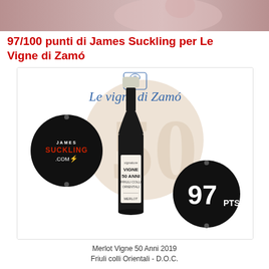[Figure (photo): Top banner photo showing a person in background, cropped]
97/100 punti di James Suckling per Le Vigne di Zamó
[Figure (photo): Wine product card showing Le Vigne di Zamó logo, a bottle of Merlot Vigne 50 Anni, a James Suckling.com badge on the left, and a 97 PTS badge on the right]
Merlot Vigne 50 Anni 2019
Friuli colli Orientali - D.O.C.